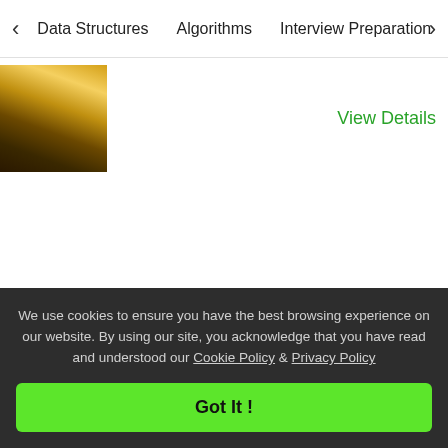< Data Structures   Algorithms   Interview Preparation   To>
[Figure (photo): Thumbnail image showing a person in yellow/gold lighting]
View Details
We use cookies to ensure you have the best browsing experience on our website. By using our site, you acknowledge that you have read and understood our Cookie Policy & Privacy Policy
Got It !